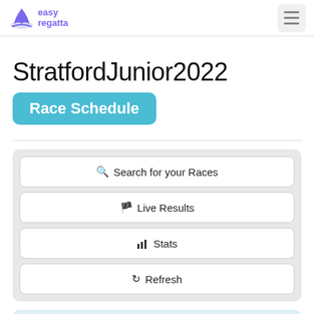easy regatta
StratfordJunior2022
Race Schedule
Search for your Races
Live Results
Stats
Refresh
Division 1